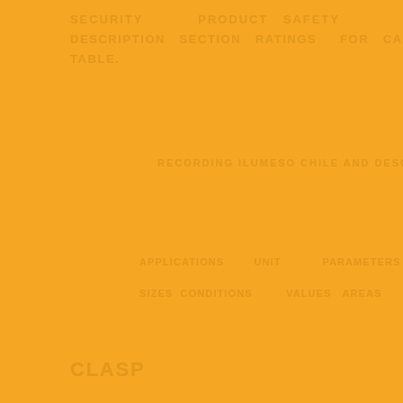[Figure (illustration): Solid amber/golden-yellow background page with faint watermark text visible in darker orange tones. Text lines appear at top reading partial words, a centered section header area, and partial text lines at bottom. The entire page background is a uniform warm amber color (#F5A623) with low-contrast watermark overlay text.]